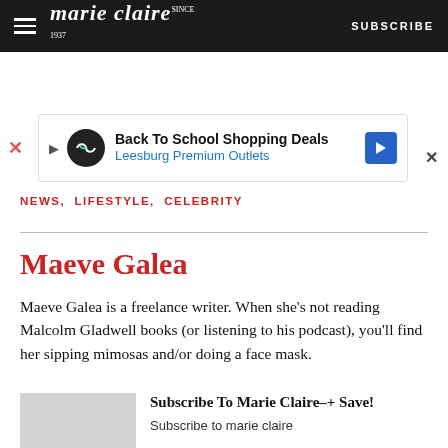marie claire — SUBSCRIBE
[Figure (screenshot): Advertisement banner: Back To School Shopping Deals — Leesburg Premium Outlets]
NEWS, LIFESTYLE, CELEBRITY
Maeve Galea
Maeve Galea is a freelance writer. When she's not reading Malcolm Gladwell books (or listening to his podcast), you'll find her sipping mimosas and/or doing a face mask.
Subscribe To Marie Claire+ Save! Subscribe to marie claire